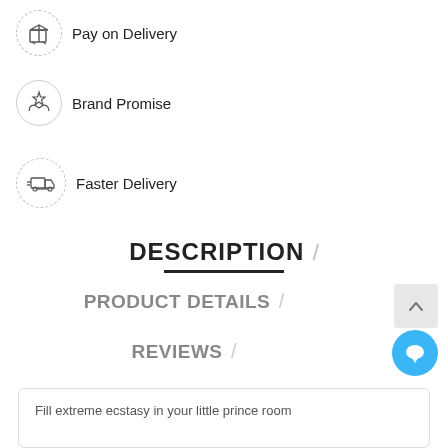Pay on Delivery
Brand Promise
Faster Delivery
DESCRIPTION
PRODUCT DETAILS
REVIEWS
Fill extreme ecstasy in your little prince room